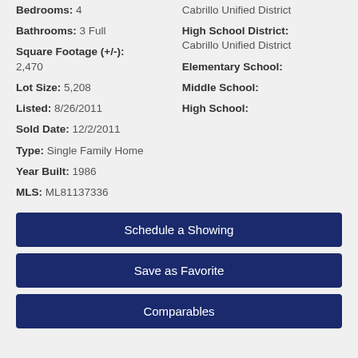Bedrooms: 4
Bathrooms: 3 Full
Square Footage (+/-): 2,470
Lot Size: 5,208
Listed: 8/26/2011
Sold Date: 12/2/2011
Type: Single Family Home
Year Built: 1986
MLS: ML81137336
Cabrillo Unified District
High School District: Cabrillo Unified District
Elementary School:
Middle School:
High School:
Schedule a Showing
Save as Favorite
Comparables